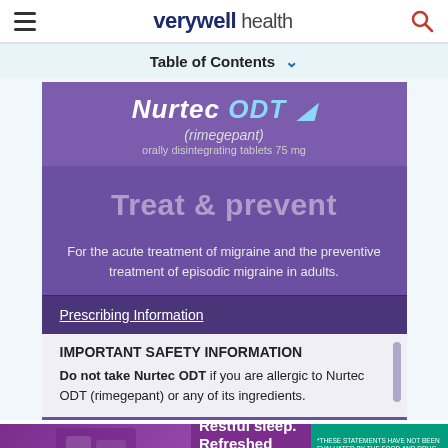verywell health
Table of Contents
[Figure (photo): Nurtec ODT (rimegepant) pharmaceutical advertisement showing purple background with 'Treat & prevent' tagline, prescribing information link, and important safety information section]
Advertisement
[Figure (photo): Bottom advertisement banner for Zarbee's sleep product: 'Restful sleep. Refreshed mornings.' with Shop Now button and disclaimer text]